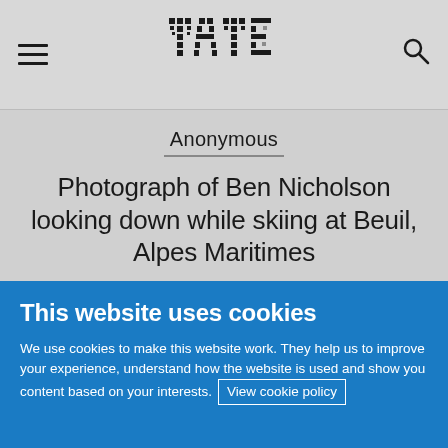Tate — navigation header with hamburger menu, Tate logo, and search icon
Anonymous
Photograph of Ben Nicholson looking down while skiing at Beuil, Alpes Maritimes
January 1936
This website uses cookies
We use cookies to make this website work. They help us to improve your experience, understand how the website is used and show you content based on your interests. View cookie policy